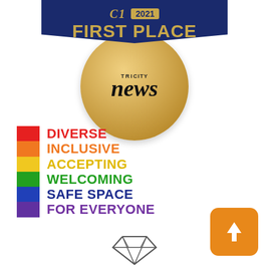[Figure (logo): Tri City News First Place 2021 award badge with blue ribbon banner showing 'FIRST PLACE' in gold text, over a gold circle with 'TRI CITY news' text]
[Figure (infographic): Rainbow pride flag stripes with bold text: DIVERSE (red), INCLUSIVE (orange), ACCEPTING (yellow), WELCOMING (green), SAFE SPACE (blue), FOR EVERYONE (purple)]
[Figure (illustration): Orange rounded square button with white upward arrow icon]
[Figure (illustration): Diamond/gem outline illustration at bottom of page]